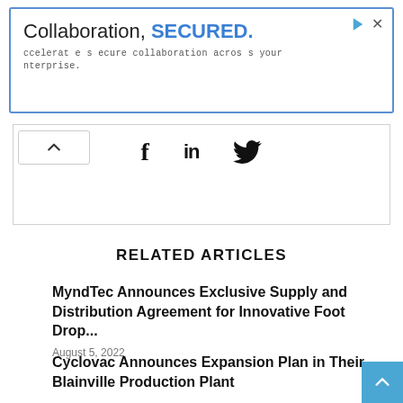[Figure (screenshot): Advertisement banner: 'Collaboration, SECURED.' with subtitle 'Accelerate secure collaboration across your enterprise.']
[Figure (infographic): Social share icons: Facebook (f), LinkedIn (in), Twitter bird icon]
RELATED ARTICLES
MyndTec Announces Exclusive Supply and Distribution Agreement for Innovative Foot Drop...
August 5, 2022
Cyclovac Announces Expansion Plan in Their Blainville Production Plant